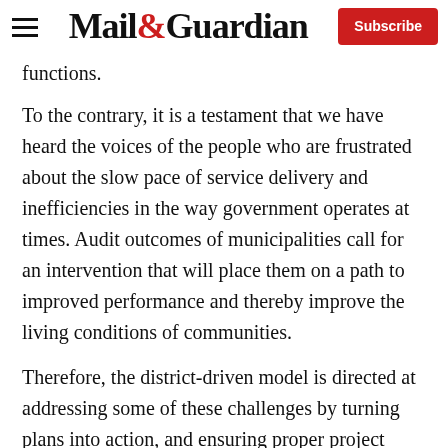Mail&Guardian | Subscribe
functions.
To the contrary, it is a testament that we have heard the voices of the people who are frustrated about the slow pace of service delivery and inefficiencies in the way government operates at times. Audit outcomes of municipalities call for an intervention that will place them on a path to improved performance and thereby improve the living conditions of communities.
Therefore, the district-driven model is directed at addressing some of these challenges by turning plans into action, and ensuring proper project management and tracking. Through it, the three spheres of government will cooperate in a coordinated manner led by the...